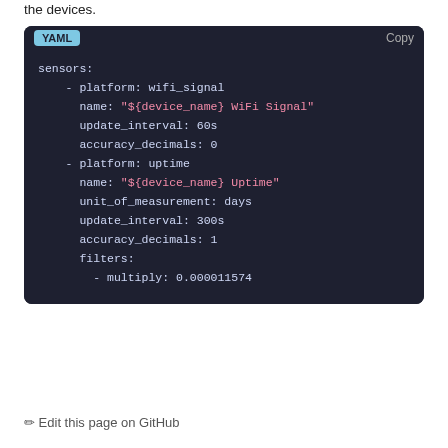the devices.
[Figure (screenshot): YAML code block on dark background showing ESPHome sensor configuration with wifi_signal and uptime sensors]
✏ Edit this page on GitHub